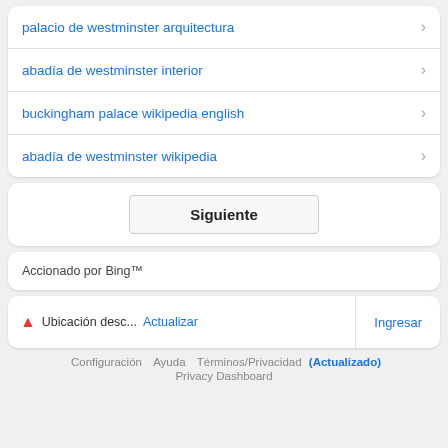palacio de westminster arquitectura
abadía de westminster interior
buckingham palace wikipedia english
abadía de westminster wikipedia
Siguiente
Accionado por Bing™
Ubicación desc... Actualizar
Ingresar
Configuración  Ayuda  Términos/Privacidad  (Actualizado)
Privacy Dashboard